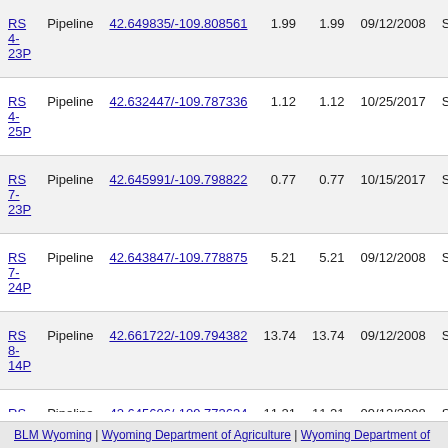| Name | Type | Coordinates | Val1 | Val2 | Date | S |
| --- | --- | --- | --- | --- | --- | --- |
| RS 4-23P | Pipeline | 42.649835/-109.808561 | 1.99 | 1.99 | 09/12/2008 | S |
| RS 4-25P | Pipeline | 42.632447/-109.787336 | 1.12 | 1.12 | 10/25/2017 | S |
| RS 7-23P | Pipeline | 42.645991/-109.798822 | 0.77 | 0.77 | 10/15/2017 | S |
| RS 7-24P | Pipeline | 42.643847/-109.778875 | 5.21 | 5.21 | 09/12/2008 | S |
| RS 8-14P | Pipeline | 42.661722/-109.794382 | 13.74 | 13.74 | 09/12/2008 | S |
| RS 8-24P | Pipeline | 42.645606/-109.773634 | 11.21 | 11.21 | 09/12/2008 | S |
| RS 10-14P | Pipeline | 42.655517/-109.794702 | 3.69 | 3.69 | 10/13/2017 | S |
BLM Wyoming | Wyoming Department of Agriculture | Wyoming Department of